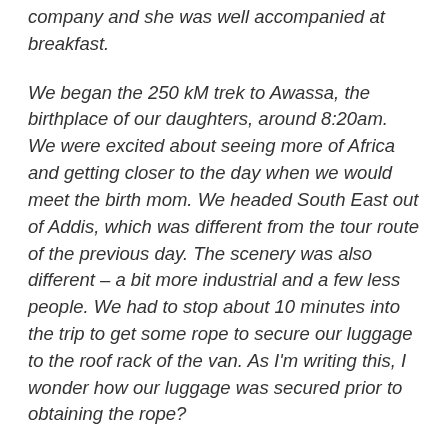company and she was well accompanied at breakfast.
We began the 250 kM trek to Awassa, the birthplace of our daughters, around 8:20am. We were excited about seeing more of Africa and getting closer to the day when we would meet the birth mom. We headed South East out of Addis, which was different from the tour route of the previous day. The scenery was also different – a bit more industrial and a few less people. We had to stop about 10 minutes into the trip to get some rope to secure our luggage to the roof rack of the van. As I'm writing this, I wonder how our luggage was secured prior to obtaining the rope?
Anyhow, while stopped for the rope we were immediately greeted by young boys, probably 7-12 years old, selling their wares: wafers (cookies),